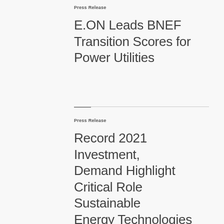Press Release
E.ON Leads BNEF Transition Scores for Power Utilities
Press Release
Record 2021 Investment, Demand Highlight Critical Role Sustainable Energy Technologies Play in the U.S. Economy